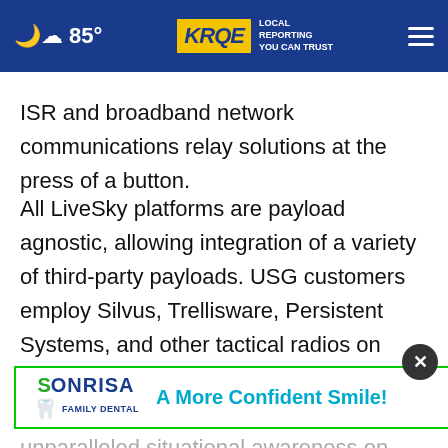85° KRQE LOCAL REPORTING YOU CAN TRUST
ISR and broadband network communications relay solutions at the press of a button.
All LiveSky platforms are payload agnostic, allowing integration of a variety of third-party payloads. USG customers employ Silvus, Trellisware, Persistent Systems, and other tactical radios on LiveSky platforms for broadband network range extension, giving our troops unparalleled situational awareness on the b
[Figure (screenshot): Sonrisa Family Dental advertisement banner with green border reading 'A More Confident Smile!']